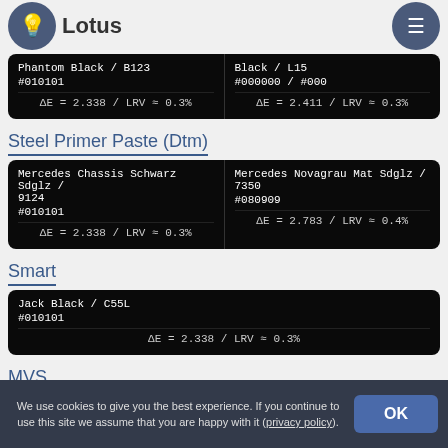Lotus
| Color/Code | Color/Code |
| --- | --- |
| Phantom Black / B123
#010101
ΔE = 2.338 / LRV ≈ 0.3% | Black / L15
#000000 / #000
ΔE = 2.411 / LRV ≈ 0.3% |
Steel Primer Paste (Dtm)
| Color/Code | Color/Code |
| --- | --- |
| Mercedes Chassis Schwarz Sdglz / 9124
#010101
ΔE = 2.338 / LRV ≈ 0.3% | Mercedes Novagrau Mat Sdglz / 7350
#080909
ΔE = 2.783 / LRV ≈ 0.4% |
Smart
| Color/Code |
| --- |
| Jack Black / C55L
#010101
ΔE = 2.338 / LRV ≈ 0.3% |
MVS
Carbone / 200073
We use cookies to give you the best experience. If you continue to use this site we assume that you are happy with it (privacy policy).